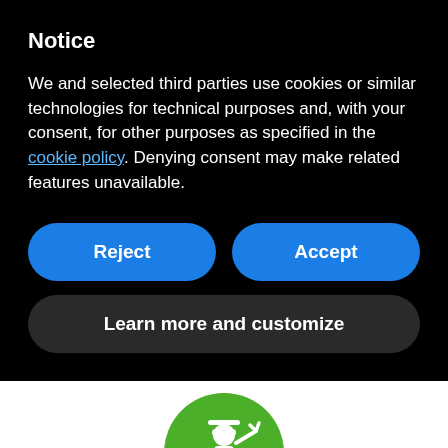Notice
We and selected third parties use cookies or similar technologies for technical purposes and, with your consent, for other purposes as specified in the cookie policy. Denying consent may make related features unavailable.
Reject
Accept
Learn more and customize
[Figure (illustration): Green circle with a white miner/worker icon and a pickaxe symbol]
[Figure (illustration): Green circle with a white mining cart/wagon icon]